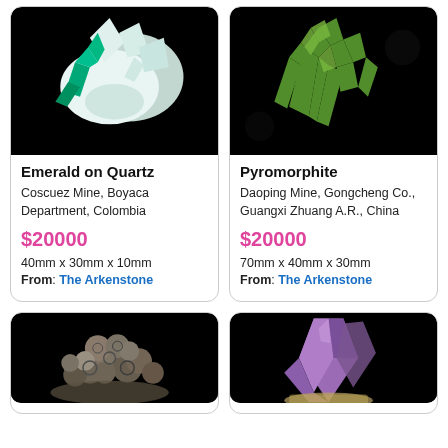[Figure (photo): Emerald on Quartz mineral specimen — green emerald crystal with white quartz on black background]
Emerald on Quartz
Coscuez Mine, Boyaca Department, Colombia
$20000
40mm x 30mm x 10mm
From: The Arkenstone
[Figure (photo): Pyromorphite mineral specimen — bright green crystalline clusters on black background]
Pyromorphite
Daoping Mine, Gongcheng Co., Guangxi Zhuang A.R., China
$20000
70mm x 40mm x 30mm
From: The Arkenstone
[Figure (photo): Mineral specimen with multiple small spherical botryoidal formations in grey-blue tones on black background]
[Figure (photo): Purple/amethyst quartz crystal point specimen on black background]